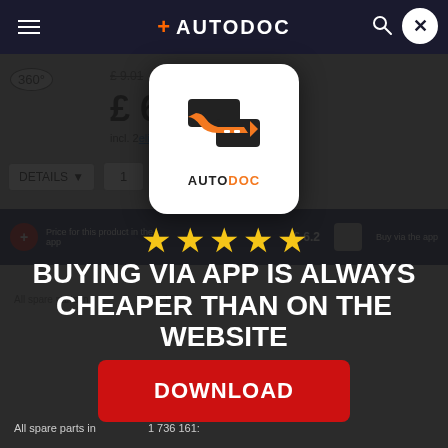+ AUTODOC
[Figure (screenshot): Autodoc mobile app screenshot showing a product page with price £6.xx, -29% discount badge, details and quantity controls, and app promo bar.]
[Figure (logo): Autodoc logo: white card with orange and black arrow/road icon and AUTODOC text]
★★★★★
BUYING VIA APP IS ALWAYS CHEAPER THAN ON THE WEBSITE
[Figure (other): Red DOWNLOAD button]
All spare parts in ... 1 736 161: